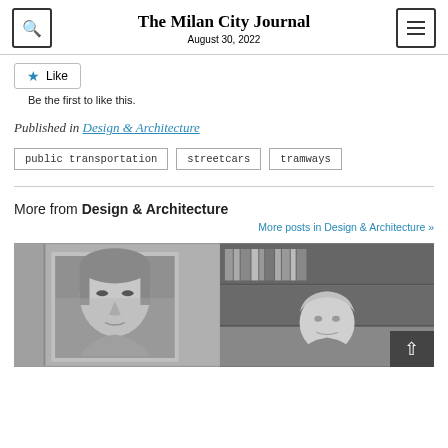The Milan City Journal
August 30, 2022
Like
Be the first to like this.
Published in Design & Architecture
public transportation
streetcars
tramways
More from Design & Architecture
More posts in Design & Architecture »
[Figure (photo): Two black-and-white photographs side by side: left shows a reproduction of the Mona Lisa painting; right shows an elderly person in front of bookshelves.]